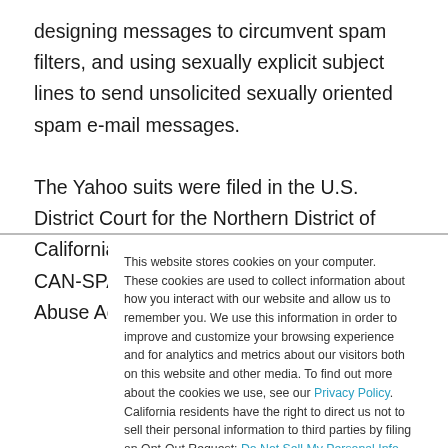designing messages to circumvent spam filters, and using sexually explicit subject lines to send unsolicited sexually oriented spam e-mail messages.

The Yahoo suits were filed in the U.S. District Court for the Northern District of California in San Jose, California, under the CAN-SPAM Act, the Computer Fraud and Abuse Act, the
This website stores cookies on your computer. These cookies are used to collect information about how you interact with our website and allow us to remember you. We use this information in order to improve and customize your browsing experience and for analytics and metrics about our visitors both on this website and other media. To find out more about the cookies we use, see our Privacy Policy. California residents have the right to direct us not to sell their personal information to third parties by filing an Opt-Out Request: Do Not Sell My Personal Info.
Accept